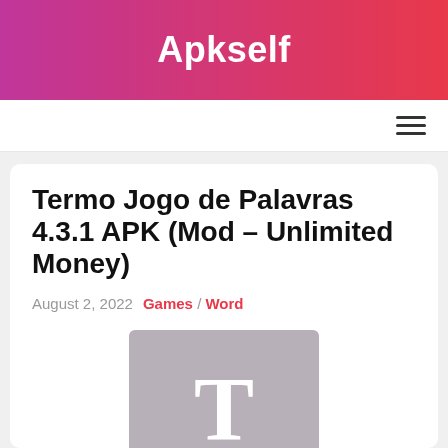Apkself
Termo Jogo de Palavras 4.3.1 APK (Mod – Unlimited Money)
August 2, 2022   Games / Word
[Figure (logo): App icon placeholder: grey square with large white letter T]